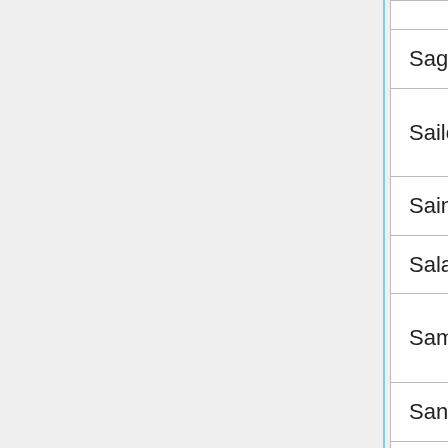| Show | Game |
| --- | --- |
| Sagwa the Chinese Siamese Cat | Counting Koi |
| Sailor Moon | Sailor Moon Robot Frenzy! |
| Saint Seiya | Break Through Zo... |
| Salad Fingers | Salad Fingers Ep... |
| Samurai Jack | Samurai Jack: Co... the Samurai |
| Sandra, a Detetive Encantada | Sandra Contra o ... |
| Sanjay and Craig | Sanjay and Craig... Frycade |
| Saw | Saw IV Trapped: ... Game |
| Scaredy Squirrel | BFFs |
| Scooby-Doo | Scooby Doo! Mon... Madness |